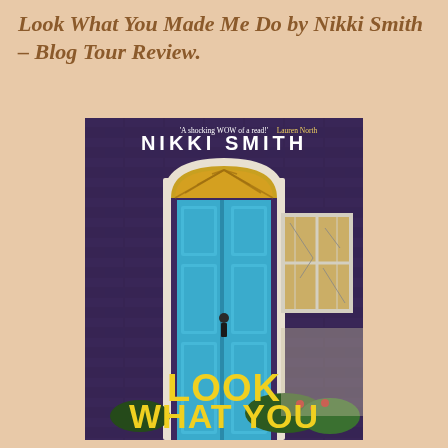Look What You Made Me Do by Nikki Smith – Blog Tour Review.
[Figure (illustration): Book cover of 'Look What You Made Me Do' by Nikki Smith. Dark purple stone wall background with a bright blue front door with an arched white surround and golden fanlight. A white-framed sash window with cracked glass panes is visible to the right. Green shrubs and red flowers at the base. Author name 'NIKKI SMITH' in large white text at top. Quote 'A shocking WOW of a read!' Lauren North in small white/yellow text. Title 'LOOK WHAT YOU' in large yellow block letters at the bottom.]